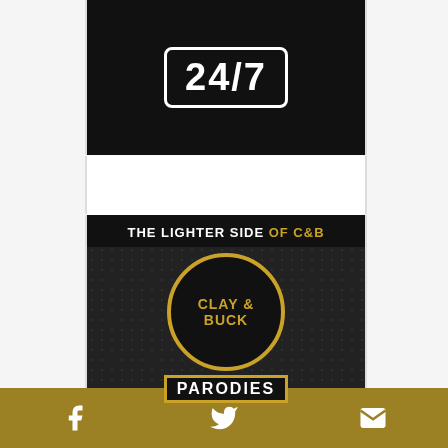[Figure (logo): Partial view of a '24/7' logo in white text inside a white rounded rectangle border on a dark/black dotted background]
[Figure (logo): Clay & Buck Parodies logo: dark background with dot texture, 'THE LIGHTER SIDE OF C&B' header bar (white and gold text), a gold-bordered circle containing 'CLAY & BUCK' in gold text, and a 'PARODIES' text banner in white with gold border]
[Figure (infographic): Gold/khaki footer bar with three social media icons: Facebook (f), Twitter (bird), and Email (envelope) in white]